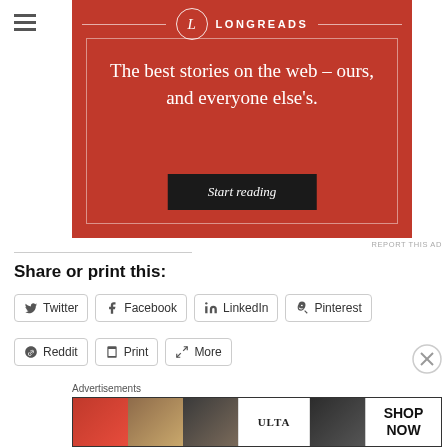[Figure (advertisement): Longreads advertisement banner with red background. Logo at top center with circle L and LONGREADS text. Tagline: 'The best stories on the web – ours, and everyone else's.' Black 'Start reading' button at bottom.]
REPORT THIS AD
Share or print this:
Twitter
Facebook
LinkedIn
Pinterest
Reddit
Print
More
Advertisements
[Figure (advertisement): ULTA beauty advertisement banner showing close-up makeup photos and SHOP NOW call to action.]